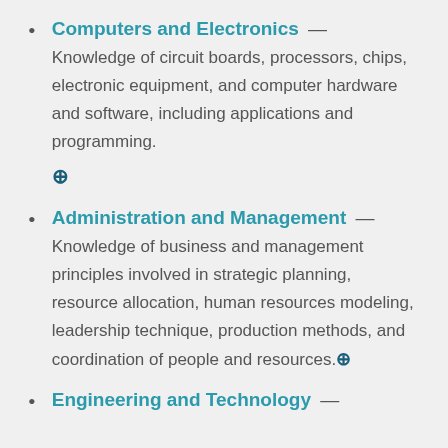Computers and Electronics — Knowledge of circuit boards, processors, chips, electronic equipment, and computer hardware and software, including applications and programming.
Administration and Management — Knowledge of business and management principles involved in strategic planning, resource allocation, human resources modeling, leadership technique, production methods, and coordination of people and resources.
Engineering and Technology —